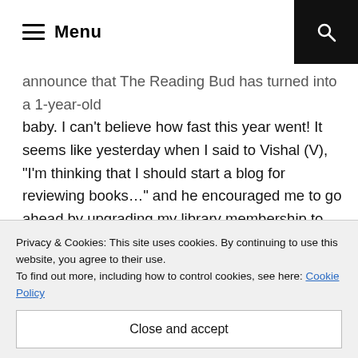Menu
announce that The Reading Bud has turned into a 1-year-old baby. I can't believe how fast this year went! It seems like yesterday when I said to Vishal (V), "I'm thinking that I should start a blog for reviewing books..." and he encouraged me to go ahead by upgrading my library membership to the platinum package in which they deliver unlimited books at home. I remember him telling me "Go ahead and make me proud."
I had no clue what book-blogging even meant that time. V
Privacy & Cookies: This site uses cookies. By continuing to use this website, you agree to their use.
To find out more, including how to control cookies, see here: Cookie Policy
Close and accept